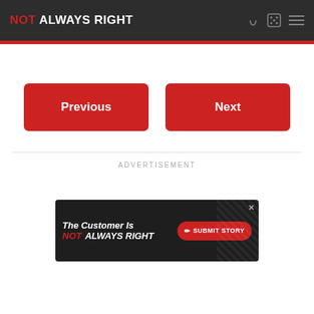NOT ALWAYS RIGHT
Previous
Next
ADVERTISEMENT
[Figure (infographic): Advertisement banner for 'Not Always Right' website reading 'The Customer Is NOT ALWAYS RIGHT' with a red SUBMIT STORY button]